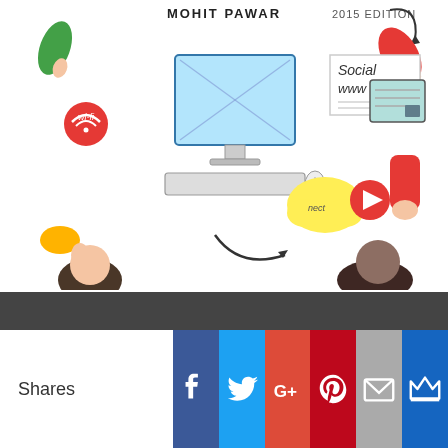[Figure (illustration): Book cover illustration showing people drawing/sketching digital marketing concepts including a computer monitor, social media icons (wi-fi, cloud, video play button), www and Social text. Author: MOHIT PAWAR, 2015 EDITION text at top.]
The Digital Marketing Handbook
[Figure (infographic): Social sharing bar with Shares label and icons for Facebook, Twitter, Google+, Pinterest, Email, and a crown/bookmark icon.]